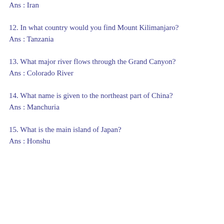Ans : Iran
12. In what country would you find Mount Kilimanjaro?
Ans : Tanzania
13. What major river flows through the Grand Canyon?
Ans : Colorado River
14. What name is given to the northeast part of China?
Ans : Manchuria
15. What is the main island of Japan?
Ans : Honshu